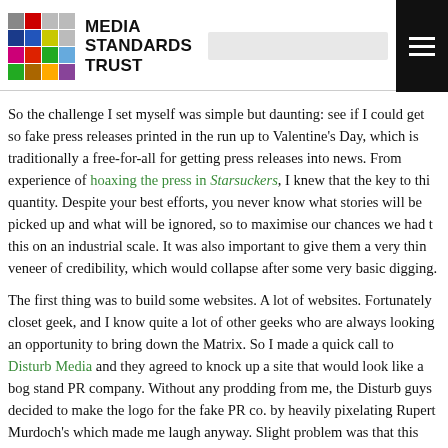[Figure (logo): Media Standards Trust logo with colorful grid and text]
So the challenge I set myself was simple but daunting: see if I could get some fake press releases printed in the run up to Valentine's Day, which is traditionally a free-for-all for getting press releases into news. From experience of hoaxing the press in Starsuckers, I knew that the key to this was quantity. Despite your best efforts, you never know what stories will be picked up and what will be ignored, so to maximise our chances we had to do this on an industrial scale. It was also important to give them a very thin veneer of credibility, which would collapse after some very basic digging.
The first thing was to build some websites. A lot of websites. Fortunately I'm a closet geek, and I know quite a lot of other geeks who are always looking for an opportunity to bring down the Matrix. So I made a quick call to Disturb Media and they agreed to knock up a site that would look like a bog standard PR company. Without any prodding from me, the Disturb guys decided to make the logo for the fake PR co. by heavily pixelating Rupert Murdoch's face, which made me laugh anyway. Slight problem was that this new PR co. co...